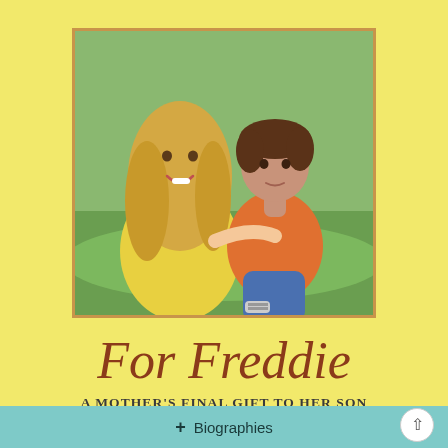[Figure (photo): A smiling blonde woman with long wavy hair holding a young boy with brown hair wearing an orange t-shirt and jeans, sitting outdoors on green grass]
For Freddie
A MOTHER'S FINAL GIFT TO HER SON
+ Biographies